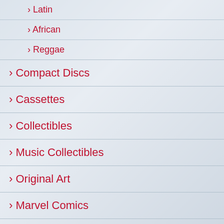> Latin
> African
> Reggae
> Compact Discs
> Cassettes
> Collectibles
> Music Collectibles
> Original Art
> Marvel Comics